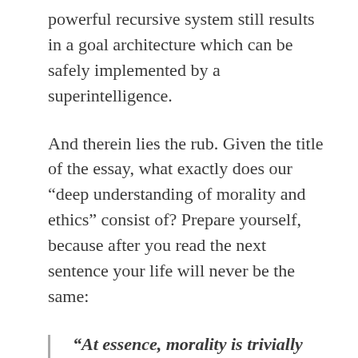powerful recursive system still results in a goal architecture which can be safely implemented by a superintelligence.
And therein lies the rub. Given the title of the essay, what exactly does our “deep understanding of morality and ethics” consist of? Prepare yourself, because after you read the next sentence your life will never be the same:
“At essence, morality is trivially simple – make it so that we can